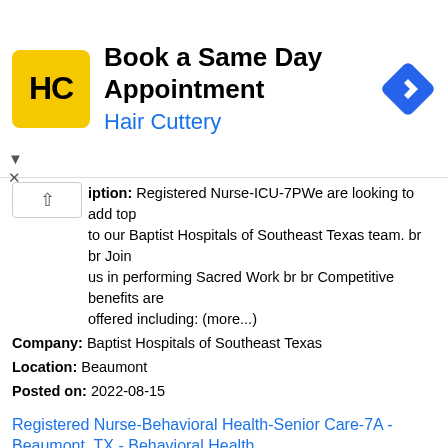[Figure (infographic): Hair Cuttery advertisement banner with logo (HC in black on yellow background), text 'Book a Same Day Appointment' and 'Hair Cuttery' in blue, and a blue navigation/map arrow icon on the right.]
iption: Registered Nurse-ICU-7PWe are looking to add top to our Baptist Hospitals of Southeast Texas team. br br Join us in performing Sacred Work br br Competitive benefits are offered including: (more...)
Company: Baptist Hospitals of Southeast Texas
Location: Beaumont
Posted on: 2022-08-15
Registered Nurse-Behavioral Health-Senior Care-7A - Beaumont, TX - Behavioral Health
Description: Registered Nurse-Behavioral Health-Senior Care-7A - Beaumont, TX We are looking to add top talent to our Baptist Hospitals of Southeast Texas team.-- br Join us in performing Sacred Work br Competitive (more...)
Company: Baptist Hospitals of Southeast Texas
Location: Beaumont
Posted on: 2022-08-15
Registered Nurse-4T Telemetry-7P - Telemetry
Description: Registered Nurse-4T Telemetry-7PWe are looking to add top talent to our Baptist Hospitals of Southeast Texas team. br br Join us in performing Sacred Work br br Competitive